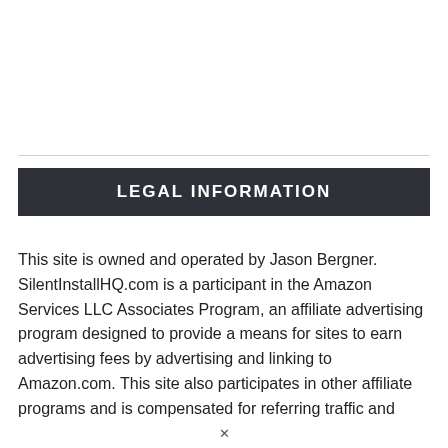LEGAL INFORMATION
This site is owned and operated by Jason Bergner. SilentInstallHQ.com is a participant in the Amazon Services LLC Associates Program, an affiliate advertising program designed to provide a means for sites to earn advertising fees by advertising and linking to Amazon.com. This site also participates in other affiliate programs and is compensated for referring traffic and